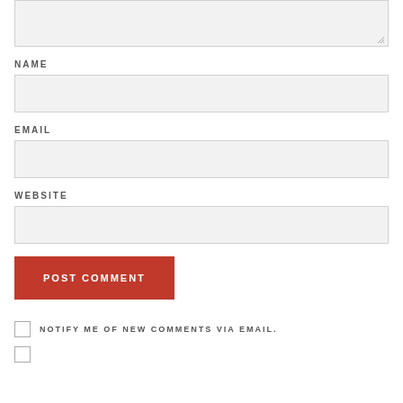[Figure (screenshot): Textarea input box (comment field) with resize handle at bottom right, partially visible at top of page]
NAME
[Figure (screenshot): Name input field, light gray background]
EMAIL
[Figure (screenshot): Email input field, light gray background]
WEBSITE
[Figure (screenshot): Website input field, light gray background]
[Figure (screenshot): Red POST COMMENT button]
NOTIFY ME OF NEW COMMENTS VIA EMAIL.
[Figure (screenshot): Checkbox (unchecked) and a partially visible second checkbox row at the bottom]